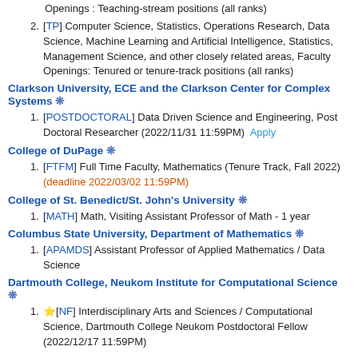Openings : Teaching-stream positions (all ranks)
[TP] Computer Science, Statistics, Operations Research, Data Science, Machine Learning and Artificial Intelligence, Statistics, Management Science, and other closely related areas, Faculty Openings: Tenured or tenure-track positions (all ranks)
Clarkson University, ECE and the Clarkson Center for Complex Systems ❋
[POSTDOCTORAL] Data Driven Science and Engineering, Post Doctoral Researcher (2022/11/31 11:59PM) Apply
College of DuPage ❋
[FTFM] Full Time Faculty, Mathematics (Tenure Track, Fall 2022) (deadline 2022/03/02 11:59PM)
College of St. Benedict/St. John's University ❋
[MATH] Math, Visiting Assistant Professor of Math - 1 year
Columbus State University, Department of Mathematics ❋
[APAMDS] Assistant Professor of Applied Mathematics / Data Science
Dartmouth College, Neukom Institute for Computational Science ❋
⭐[NF] Interdisciplinary Arts and Sciences / Computational Science, Dartmouth College Neukom Postdoctoral Fellow (2022/12/17 11:59PM)